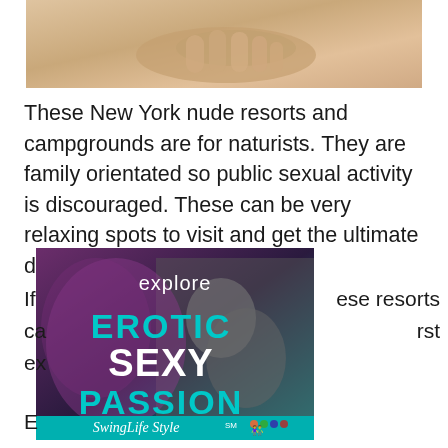[Figure (photo): Partial view of a person's bare skin with a hand covering part of the body, warm beige/tan tones]
These New York nude resorts and campgrounds are for naturists. They are family orientated so public sexual activity is discouraged. These can be very relaxing spots to visit and get the ultimate downtime in the buff.
[Figure (advertisement): Advertisement for SwingLifeStyle featuring text 'explore EROTIC SEXY PASSION' with SwingLifeStyle logo and colorful figures, overlaid on a black and white photo of a couple]
If [partially obscured] these resorts ca[partially obscured] rst ex[partially obscured]
E[partially obscured]